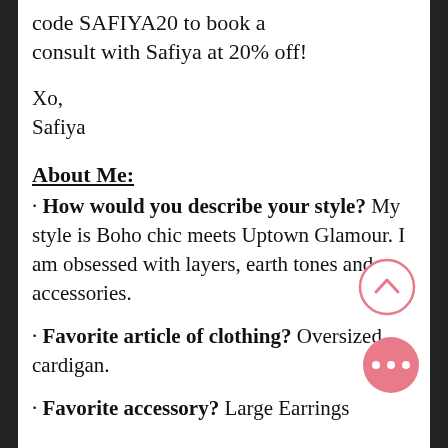code SAFIYA20 to book a consult with Safiya at 20% off!
Xo,
Safiya
About Me:
· How would you describe your style? My style is Boho chic meets Uptown Glamour. I am obsessed with layers, earth tones and accessories.
· Favorite article of clothing? Oversized cardigan.
· Favorite accessory? Large Earrings